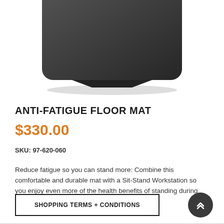[Figure (photo): Product photo of a dark/black anti-fatigue floor mat viewed from above at an angle, showing its rounded corners and matte surface.]
ANTI-FATIGUE FLOOR MAT
$330.00
SKU: 97-620-060
Reduce fatigue so you can stand more: Combine this comfortable and durable mat with a Sit-Stand Workstation so you enjoy even more of the health benefits of standing during your day. Measures 36" x 24" (91 x 61 cm).
SHOPPING TERMS + CONDITIONS